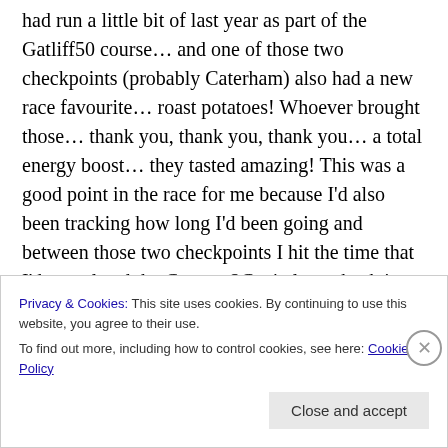had run a little bit of last year as part of the Gatliff50 course… and one of those two checkpoints (probably Caterham) also had a new race favourite… roast potatoes! Whoever brought those… thank you, thank you, thank you… a total energy boost… they tasted amazing! This was a good point in the race for me because I'd also been tracking how long I'd been going and between those two checkpoints I hit the time that I'd completed the Country2Capital race back in January. According to my Garmin (which, alas, has been known to lie to me on
Privacy & Cookies: This site uses cookies. By continuing to use this website, you agree to their use.
To find out more, including how to control cookies, see here: Cookie Policy